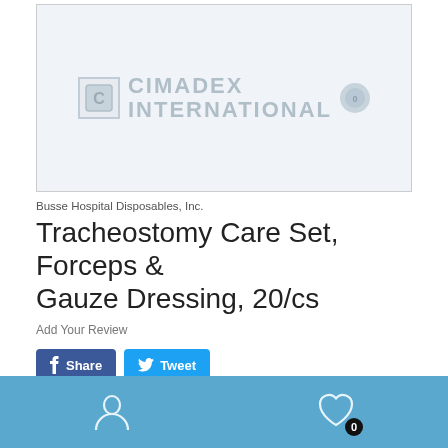[Figure (screenshot): Product image placeholder box showing CIMADEX INTERNATIONAL logo watermark in light blue/grey tones]
Busse Hospital Disposables, Inc.
Tracheostomy Care Set, Forceps & Gauze Dressing, 20/cs
Add Your Review
Share  Tweet
Request Quote/Make Offer
Wishlist
0